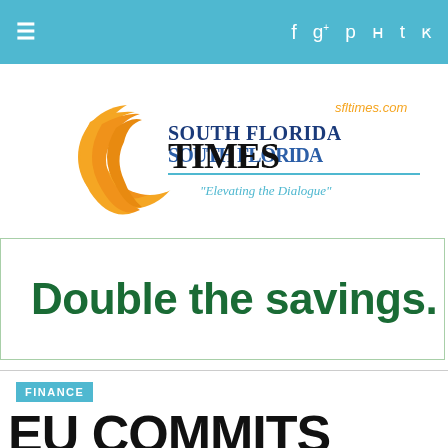South Florida Times navigation bar with hamburger menu and social icons
[Figure (logo): South Florida Times logo with orange crescent graphic and tagline 'Elevating the Dialogue', sfltimes.com in orange]
[Figure (infographic): Advertisement banner: 'Double the savings.' in dark green bold text on white with green border]
FINANCE
EU COMMITS $2.15